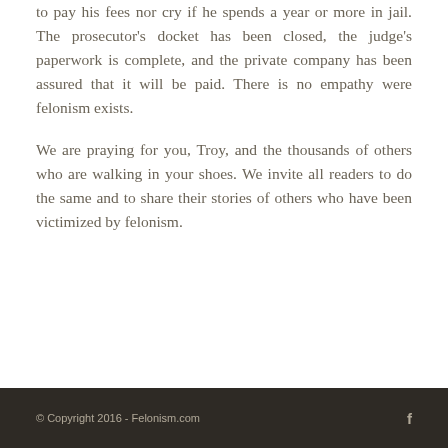to pay his fees nor cry if he spends a year or more in jail. The prosecutor's docket has been closed, the judge's paperwork is complete, and the private company has been assured that it will be paid. There is no empathy were felonism exists.
We are praying for you, Troy, and the thousands of others who are walking in your shoes. We invite all readers to do the same and to share their stories of others who have been victimized by felonism.
© Copyright 2016 - Felonism.com